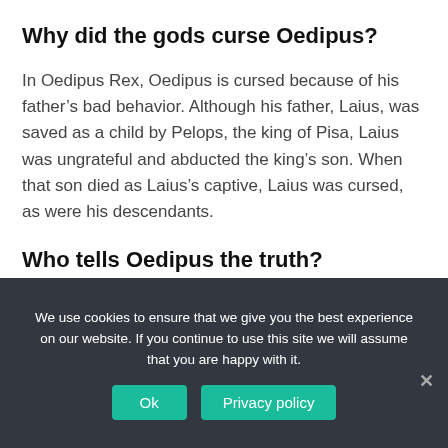Why did the gods curse Oedipus?
In Oedipus Rex, Oedipus is cursed because of his father’s bad behavior. Although his father, Laius, was saved as a child by Pelops, the king of Pisa, Laius was ungrateful and abducted the king’s son. When that son died as Laius’s captive, Laius was cursed, as were his descendants.
Who tells Oedipus the truth?
Oedipus sends for Tiresias, the blind prophet, and asks him what he knows about the murder. Tiresias responds cryptically, lamenting his
We use cookies to ensure that we give you the best experience on our website. If you continue to use this site we will assume that you are happy with it.